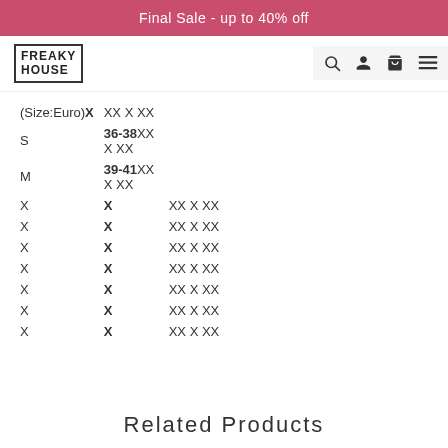Final Sale - up to 40% off
[Figure (logo): Freaky House logo with navigation icons (search, user, bag, hamburger menu)]
| (Size:Euro) | X | XX X XX |
| --- | --- | --- |
| S | 36-38XX X XX |  |
| M | 39-41XX X XX |  |
| X | X | XX X XX |
| X | X | XX X XX |
| X | X | XX X XX |
| X | X | XX X XX |
| X | X | XX X XX |
| X | X | XX X XX |
| X | X | XX X XX |
Related Products